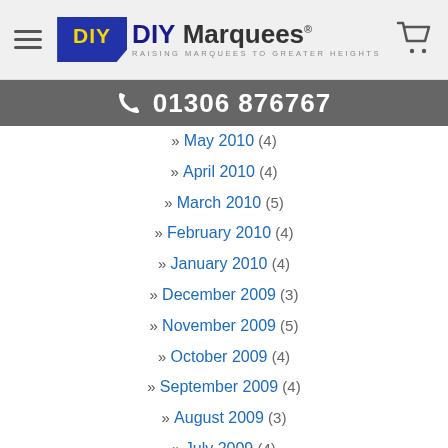DIY Marquees — RAISING MARQUEES TO GREATER HEIGHTS
01306 876767
» May 2010 (4)
» April 2010 (4)
» March 2010 (5)
» February 2010 (4)
» January 2010 (4)
» December 2009 (3)
» November 2009 (5)
» October 2009 (4)
» September 2009 (4)
» August 2009 (3)
» July 2009 (4)
» June 2009 (4)
» May 2009 (4)
» April 2009 (4)
» March 2009 (5)
» February 2009 (4)
» January 2009 (4)